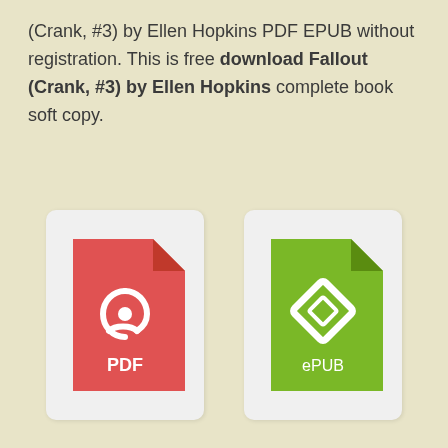(Crank, #3) by Ellen Hopkins PDF EPUB without registration. This is free download Fallout (Crank, #3) by Ellen Hopkins complete book soft copy.
[Figure (illustration): PDF file icon — red document with folded corner and Adobe Acrobat logo (white swoosh) with 'PDF' label]
[Figure (illustration): ePUB file icon — green document with folded corner and ePub logo (white diamond) with 'ePUB' label]